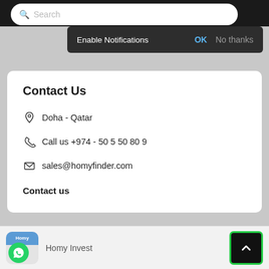[Figure (screenshot): Search bar at the top with magnifying glass icon and 'Search' placeholder text]
[Figure (screenshot): Dark notification popup with 'Enable Notifications' text, OK and No thanks buttons]
Contact Us
Doha - Qatar
Call us +974 - 50 5 50 80 9
sales@homyfinder.com
Contact us
Homy Invest